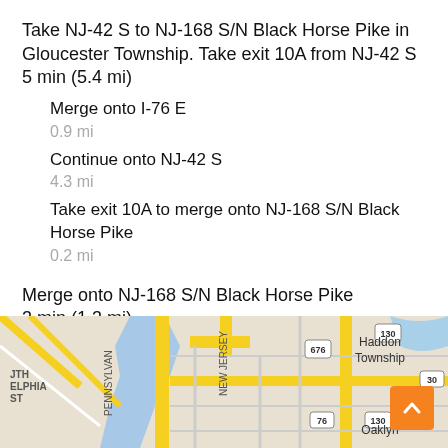Take NJ-42 S to NJ-168 S/N Black Horse Pike in Gloucester Township. Take exit 10A from NJ-42 S
5 min (5.4 mi)
Merge onto I-76 E
0.9 mi
Continue onto NJ-42 S
4.3 mi
Take exit 10A to merge onto NJ-168 S/N Black Horse Pike
0.2 mi
Merge onto NJ-168 S/N Black Horse Pike
3 min (1.3 mi)
[Figure (map): Street map showing road intersections near Philadelphia and New Jersey area including routes 676, 130, 30, 76, and locations Haddon Township and Oaklyn]